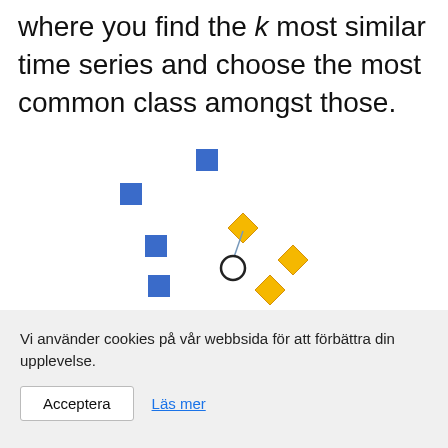where you find the k most similar time series and choose the most common class amongst those.
[Figure (illustration): Scatter diagram showing blue squares and yellow diamonds scattered around, with a white circle (query point) connected by a line to the nearest yellow diamond. Depicts k-nearest neighbors classification concept.]
Vi använder cookies på vår webbsida för att förbättra din upplevelse.